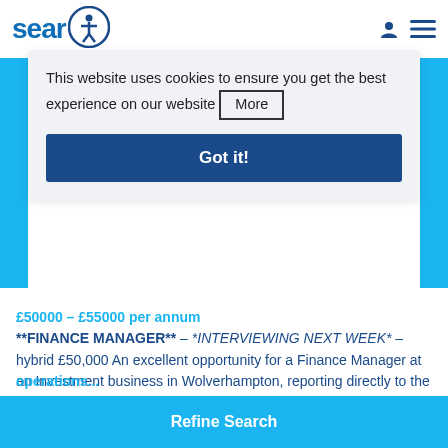sear [accessibility icon] [user icon] [menu icon]
This website uses cookies to ensure you get the best experience on our website More
Got it!
£50000 – £55000 per annum
**FINANCE MANAGER** – *INTERVIEWING NEXT WEEK* – hybrid £50,000 An excellent opportunity for a Finance Manager at an Investment business in Wolverhampton, reporting directly to the head of finance. Responsibe for: - Supporting head of finance operations...
Refine Search
operations...